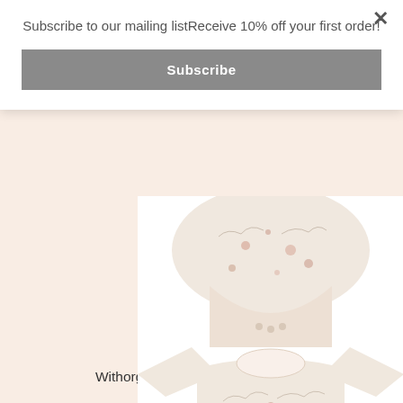Subscribe to our mailing listReceive 10% off your first order!
Subscribe
[Figure (photo): Baby animal bodysuit garment photographed from above showing the bottom snap area with an animal print pattern on cream fabric]
Withorganic Baby Animal Bodysuit
$11.50
[Figure (photo): Baby long-sleeve shirt/bodysuit with animal print pattern on cream fabric, photographed from the front showing the collar and chest area]